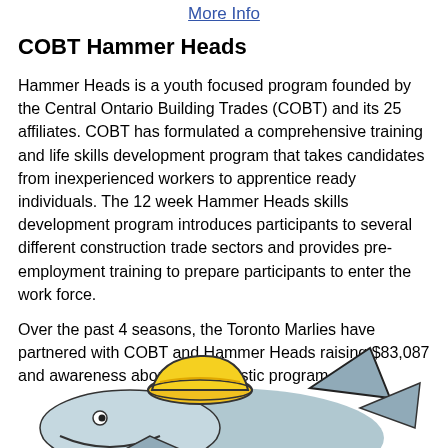More Info
COBT Hammer Heads
Hammer Heads is a youth focused program founded by the Central Ontario Building Trades (COBT) and its 25 affiliates. COBT has formulated a comprehensive training and life skills development program that takes candidates from inexperienced workers to apprentice ready individuals. The 12 week Hammer Heads skills development program introduces participants to several different construction trade sectors and provides pre-employment training to prepare participants to enter the work force.
Over the past 4 seasons, the Toronto Marlies have partnered with COBT and Hammer Heads raising $83,087 and awareness about this fantastic program.
[Figure (illustration): Cartoon illustration of a hammerhead shark wearing a yellow construction hard hat, partially visible at the bottom of the page.]